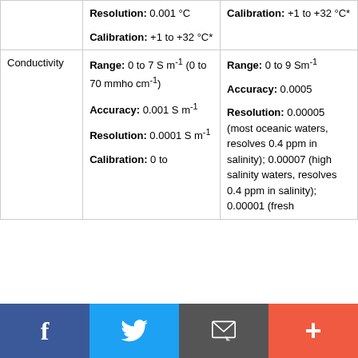|  | Column 2 | Column 3 |
| --- | --- | --- |
|  | Resolution: 0.001 °C

Calibration: +1 to +32 °C* | Calibration: +1 to +32 °C* |
| Conductivity | Range: 0 to 7 S m-1 (0 to 70 mmho cm-1)

Accuracy: 0.001 S m-1

Resolution: 0.0001 S m-1

Calibration: 0 to ... | Range: 0 to 9 Sm-1

Accuracy: 0.0005

Resolution: 0.00005 (most oceanic waters, resolves 0.4 ppm in salinity); 0.00007 (high salinity waters, resolves 0.4 ppm in salinity); 0.00001 (fresh |
[Figure (infographic): Social media sharing bar with Facebook (blue), Twitter (light blue), email/message (dark grey), and plus/more (orange-red) buttons]